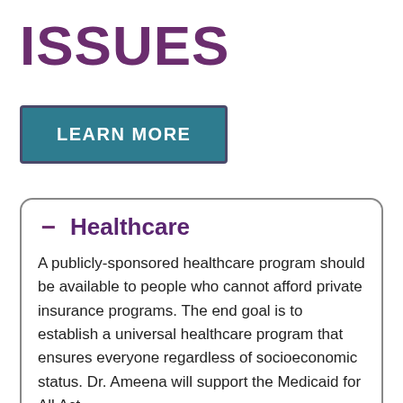ISSUES
LEARN MORE
— Healthcare
A publicly-sponsored healthcare program should be available to people who cannot afford private insurance programs. The end goal is to establish a universal healthcare program that ensures everyone regardless of socioeconomic status. Dr. Ameena will support the Medicaid for All Act.
+ Criminal Justice Reform
+ Climate Change